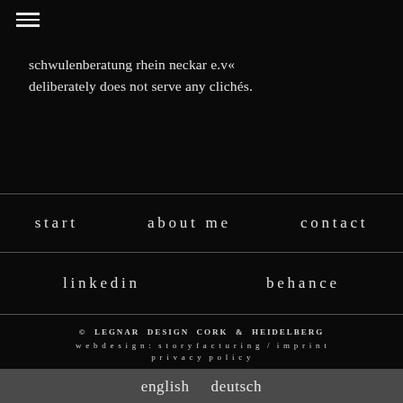≡
schwulenberatung rhein neckar e.v« deliberately does not serve any clichés.
start
about me
contact
linkedin
behance
© LEGNAR DESIGN CORK & HEIDELBERG webdesign: storyfacturing / imprint privacy policy
english  deutsch